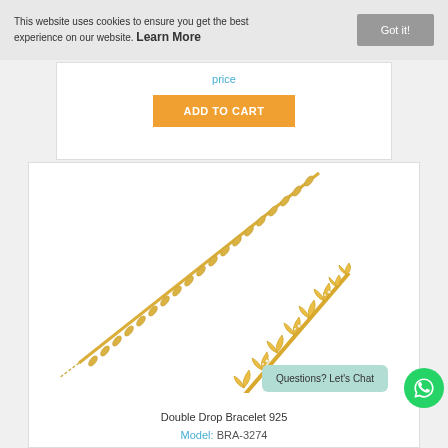This website uses cookies to ensure you get the best experience on our website. Learn More
Got it!
price
ADD TO CART
[Figure (photo): Two gold bracelets displayed diagonally — one thin chain bracelet and one with decorative leaf/flower motifs with crystal accents, both in yellow gold tone]
Double Drop Bracelet 925
Model: BRA-3274
Questions? Let's Chat